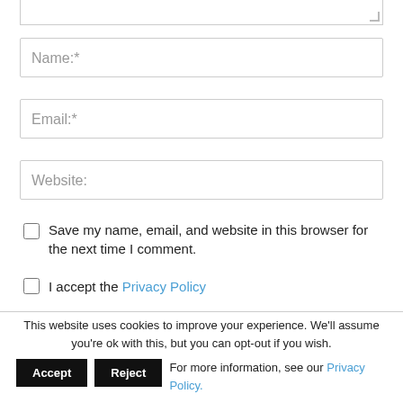[Figure (screenshot): Top portion of a textarea input field (cropped), with a resize handle at bottom-right corner]
Name:*
Email:*
Website:
Save my name, email, and website in this browser for the next time I comment.
I accept the Privacy Policy
This website uses cookies to improve your experience. We'll assume you're ok with this, but you can opt-out if you wish.
Accept   Reject   For more information, see our Privacy Policy.